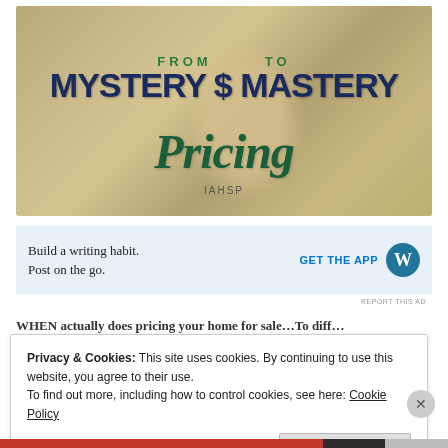[Figure (illustration): Promotional banner image with money/currency background. Text reads: FROM TO MYSTERY $ MASTERY Pricing IAHSP]
[Figure (infographic): WordPress advertisement banner: 'Build a writing habit. Post on the go.' with GET THE APP button and WordPress logo]
REPORT THIS AD
WHEN actually does pricing your home for sale…To diff…
Privacy & Cookies: This site uses cookies. By continuing to use this website, you agree to their use. To find out more, including how to control cookies, see here: Cookie Policy
Close and accept